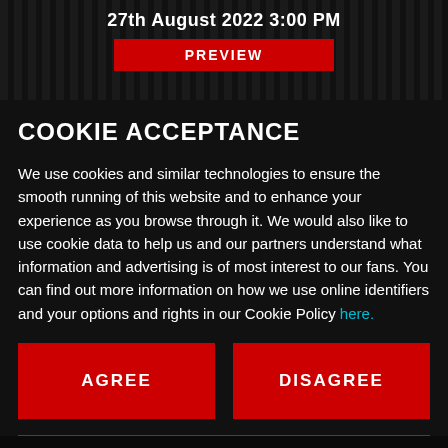27th August 2022 3:00 PM
COOKIE ACCEPTANCE
We use cookies and similar technologies to ensure the smooth running of this website and to enhance your experience as you browse through it. We would also like to use cookie data to help us and our partners understand what information and advertising is of most interest to our fans. You can find out more information on how we use online identifiers and your options and rights in our Cookie Policy here.